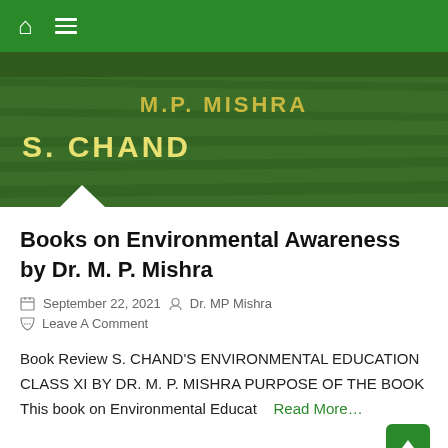Navigation bar with home and menu icons
[Figure (photo): Book cover image showing green grass background with text 'M.P. MISHRA' in yellow and 'S. CHAND' in yellow/white bold text]
Books on Environmental Awareness by Dr. M. P. Mishra
September 22, 2021   Dr. MP Mishra
Leave A Comment
Book Review S. CHAND'S ENVIRONMENTAL EDUCATION CLASS XI BY DR. M. P. MISHRA PURPOSE OF THE BOOK This book on Environmental Educat   Read More…